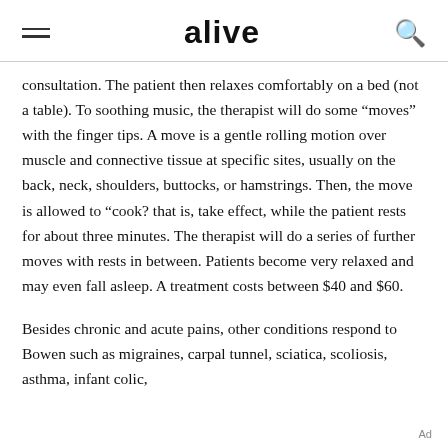alive
consultation. The patient then relaxes comfortably on a bed (not a table). To soothing music, the therapist will do some “moves” with the finger tips. A move is a gentle rolling motion over muscle and connective tissue at specific sites, usually on the back, neck, shoulders, buttocks, or hamstrings. Then, the move is allowed to “cook? that is, take effect, while the patient rests for about three minutes. The therapist will do a series of further moves with rests in between. Patients become very relaxed and may even fall asleep. A treatment costs between $40 and $60.
Besides chronic and acute pains, other conditions respond to Bowen such as migraines, carpal tunnel, sciatica, scoliosis, asthma, infant colic,
Ad